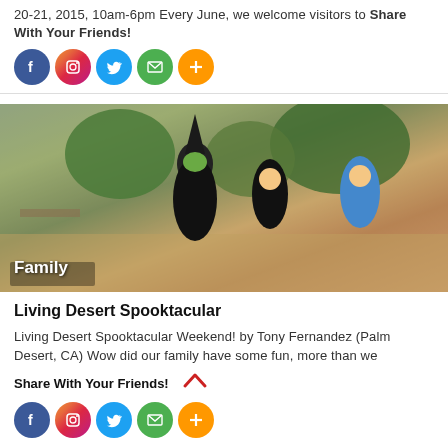20-21, 2015, 10am-6pm Every June, we welcome visitors to Share With Your Friends!
[Figure (infographic): Four social sharing icons: Facebook (blue circle), Instagram (pink/purple gradient circle), Twitter (blue circle), Email (green circle), Plus/More (orange circle)]
[Figure (photo): Outdoor photo of children and adult in Halloween costumes at a zoo or park. An adult dressed as a witch with green face paint crouches to interact with a girl dressed as Batman and another girl dressed as Dorothy from Wizard of Oz. Trees and picnic tables in background. 'Family' label overlay at bottom left.]
Living Desert Spooktacular
Living Desert Spooktacular Weekend! by Tony Fernandez (Palm Desert, CA) Wow did our family have some fun, more than we Share With Your Friends!
[Figure (infographic): Four social sharing icons: Facebook (blue circle), Instagram (pink/purple gradient circle), Twitter (blue circle), Email (green circle), Plus/More (orange circle)]